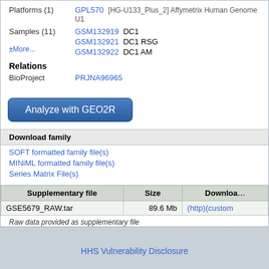Platforms (1)   GPL570  [HG-U133_Plus_2] Affymetrix Human Genome U1
Samples (11)   GSM132919  DC1
±More...
GSM132921  DC1 RSG
GSM132922  DC1 AM
Relations
BioProject   PRJNA96965
Analyze with GEO2R
Download family
SOFT formatted family file(s)
MINiML formatted family file(s)
Series Matrix File(s)
| Supplementary file | Size | Download |
| --- | --- | --- |
| GSE5679_RAW.tar | 89.6 Mb | (http)(custom |
Raw data provided as supplementary file
HHS Vulnerability Disclosure